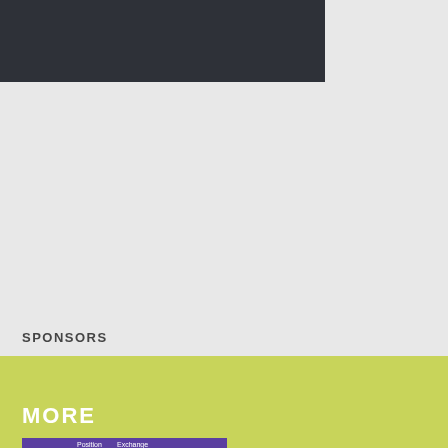[Figure (other): Dark gray/charcoal banner image at the top of the page]
MORE
SPONSORS
Special offer, Ledger Wallet!,keep your coins
Protect your coins, without key your coin
ledger-crypto.com
Cool Bounty Program
Earn more profit by complete s tasks!
nftpump.ai
Trader AI Bot , Guarant Success Trades
collect up to %70 Daily pro
ghooda.com
ZERO GAS FEE
Swap Stable Token no gas fe Position Exchange!
bit.ly
5% bonus to any depo
GemDao Defi2.0
[Figure (logo): Position Exchange purple banner with logo]